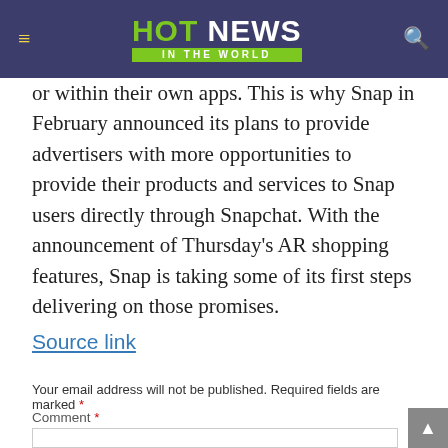HOT NEWS IN THE WORLD
or within their own apps. This is why Snap in February announced its plans to provide advertisers with more opportunities to provide their products and services to Snap users directly through Snapchat. With the announcement of Thursday's AR shopping features, Snap is taking some of its first steps delivering on those promises.
Source link
Your email address will not be published. Required fields are marked *
Comment *